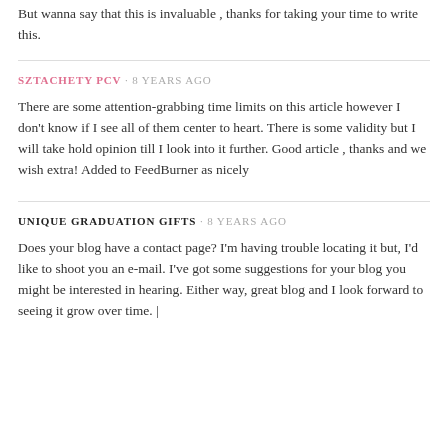But wanna say that this is invaluable , thanks for taking your time to write this.
SZTACHETY PCV · 8 YEARS AGO
There are some attention-grabbing time limits on this article however I don't know if I see all of them center to heart. There is some validity but I will take hold opinion till I look into it further. Good article , thanks and we wish extra! Added to FeedBurner as nicely
UNIQUE GRADUATION GIFTS · 8 YEARS AGO
Does your blog have a contact page? I'm having trouble locating it but, I'd like to shoot you an e-mail. I've got some suggestions for your blog you might be interested in hearing. Either way, great blog and I look forward to seeing it grow over time. |